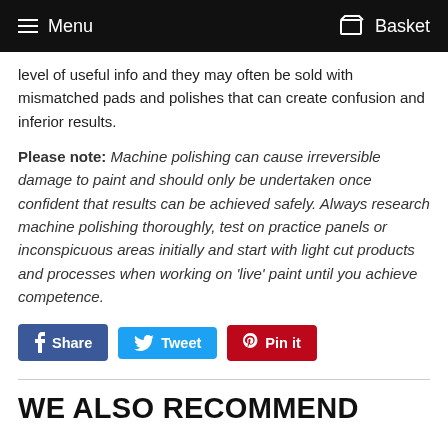Menu  Basket
level of useful info and they may often be sold with mismatched pads and polishes that can create confusion and inferior results.
Please note: Machine polishing can cause irreversible damage to paint and should only be undertaken once confident that results can be achieved safely. Always research machine polishing thoroughly, test on practice panels or inconspicuous areas initially and start with light cut products and processes when working on 'live' paint until you achieve competence.
[Figure (other): Social share buttons: Share (Facebook), Tweet (Twitter), Pin it (Pinterest)]
WE ALSO RECOMMEND